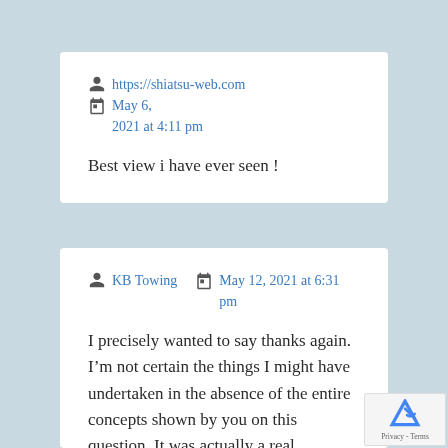https://shiatsu-web.com  May 6, 2021 at 4:11 pm
Best view i have ever seen !
KB Towing  May 12, 2021 at 6:31 pm
I precisely wanted to say thanks again. I'm not certain the things I might have undertaken in the absence of the entire concepts shown by you on this question. It was actually a real traumatic